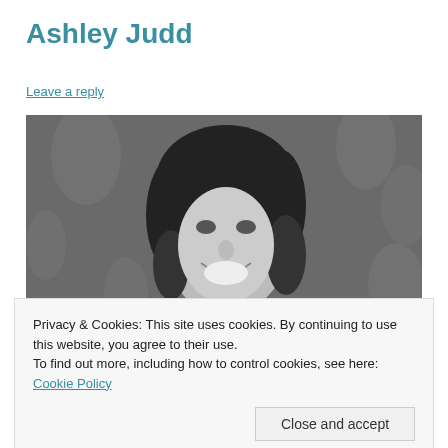Ashley Judd
Leave a reply
[Figure (photo): Black and white photograph of a smiling woman with dark wavy hair in front of a floral patterned background]
Privacy & Cookies: This site uses cookies. By continuing to use this website, you agree to their use.
To find out more, including how to control cookies, see here: Cookie Policy
Close and accept